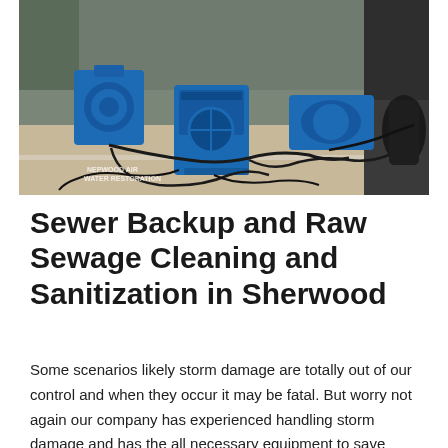[Figure (photo): Indoor room photo showing blue water damage restoration equipment (dehumidifiers and air movers) with black electrical cords spread across carpet flooring. Watermark text 'NEPWOOD AIR WATER RESTORATION' visible in lower left corner.]
Sewer Backup and Raw Sewage Cleaning and Sanitization in Sherwood
Some scenarios likely storm damage are totally out of our control and when they occur it may be fatal. But worry not again our company has experienced handling storm damage and has the all necessary equipment to save property and life when such an incident may occur. By any chance you may experience storm